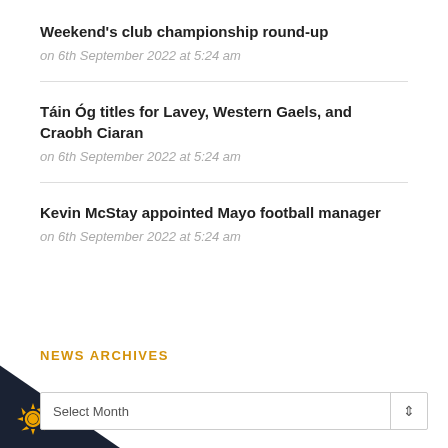Weekend's club championship round-up
on 6th September 2022 at 5:24 am
Táin Óg titles for Lavey, Western Gaels, and Craobh Ciaran
on 6th September 2022 at 5:24 am
Kevin McStay appointed Mayo football manager
on 6th September 2022 at 5:24 am
NEWS ARCHIVES
Select Month